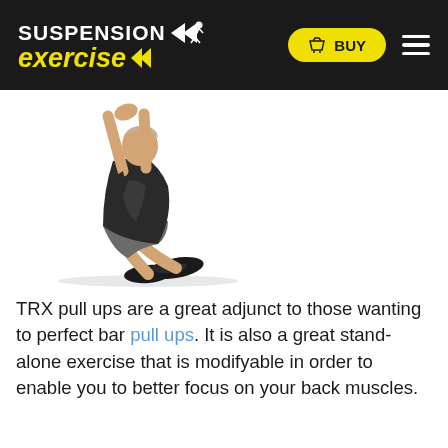SUSPENSION exercise | BUY
[Figure (photo): A person performing a TRX sit-up / pull-up exercise, seated on the floor with arms raised and feet flat, wearing dark workout clothes and black sneakers.]
TRX pull ups are a great adjunct to those wanting to perfect bar pull ups. It is also a great stand-alone exercise that is modifyable in order to enable you to better focus on your back muscles.